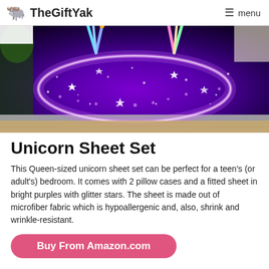TheGiftYak   menu
[Figure (photo): A queen-sized unicorn sheet set on a bed. The fitted sheet features a dark purple/galaxy background with glitter stars and sparkles, with colorful unicorn figures visible at the top.]
Unicorn Sheet Set
This Queen-sized unicorn sheet set can be perfect for a teen's (or adult's) bedroom. It comes with 2 pillow cases and a fitted sheet in bright purples with glitter stars. The sheet is made out of microfiber fabric which is hypoallergenic and, also, shrink and wrinkle-resistant.
Buy From Amazon.com